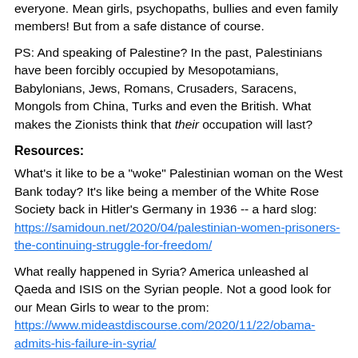everyone.  Mean girls, psychopaths, bullies and even family members!  But from a safe distance of course.
PS:  And speaking of Palestine?  In the past, Palestinians have been forcibly occupied by Mesopotamians, Babylonians, Jews, Romans, Crusaders, Saracens, Mongols from China, Turks and even the British.  What makes the Zionists think that their occupation will last?
Resources:
What's it like to be a "woke" Palestinian woman on the West Bank today?  It's like being a member of the White Rose Society back in Hitler's Germany in 1936 -- a hard slog: https://samidoun.net/2020/04/palestinian-women-prisoners-the-continuing-struggle-for-freedom/
What really happened in Syria?  America unleashed al Qaeda and ISIS on the Syrian people.  Not a good look for our Mean Girls to wear to the prom: https://www.mideastdiscourse.com/2020/11/22/obama-admits-his-failure-in-syria/